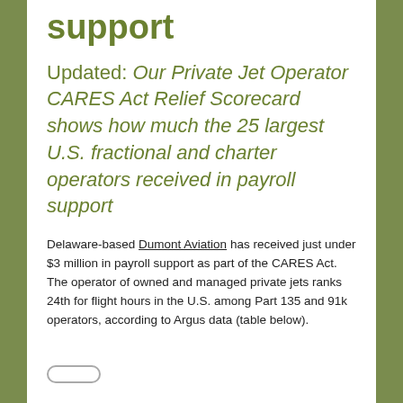support
Updated: Our Private Jet Operator CARES Act Relief Scorecard shows how much the 25 largest U.S. fractional and charter operators received in payroll support
Delaware-based Dumont Aviation has received just under $3 million in payroll support as part of the CARES Act. The operator of owned and managed private jets ranks 24th for flight hours in the U.S. among Part 135 and 91k operators, according to Argus data (table below).